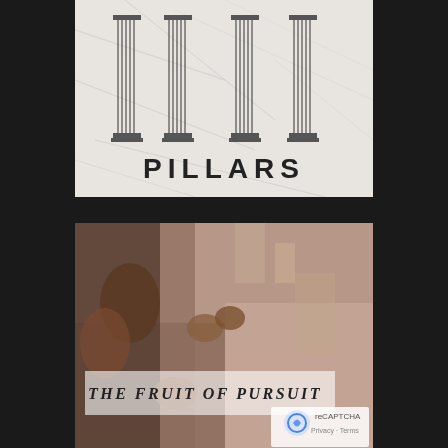[Figure (illustration): Four classical Greek/Roman columns (pillars) drawn in outline style on a marble texture background, with the word PILLARS in bold uppercase letters below the columns]
[Figure (photo): A person rock climbing on a stone wall, gripping the rock with both hands. Overlaid on the image is a semi-transparent white banner with the italic serif text 'THE FRUIT OF PURSUIT'. A reCAPTCHA logo and 'Privacy · Terms' text appear in the bottom right corner.]